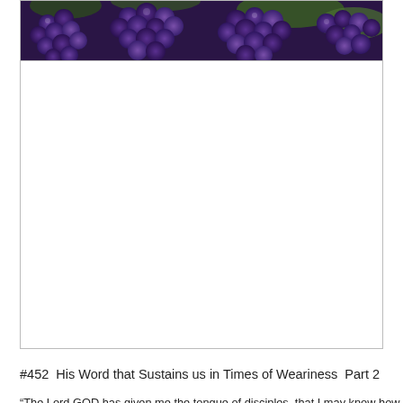[Figure (photo): Photo of dark purple grapes on a vine with green leaves in the background]
#452  His Word that Sustains us in Times of Weariness  Part 2
“The Lord GOD has given me the tongue of disciples, that I may know how to sustain the weary one with a word.  He awakens me morning by morning, He awakens my ear to listen as a disciple.
The Lord GOD has opened my ear; and I was not disobedient, nor did I turn back.”  Isaiah 50:4-5
Below is another paraphrase of Scripture, in answer to the question, ‘What message did Jesus want me to receive from these words?’  This paraphrase is a testimony to what these words mean to me